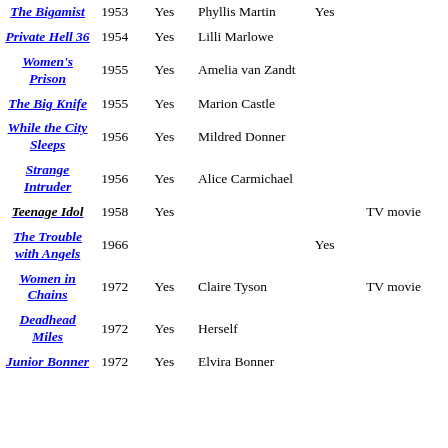| Title | Year | Noted? | Role | Col5 | Notes |
| --- | --- | --- | --- | --- | --- |
| The Bigamist | 1953 | Yes | Phyllis Martin | Yes |  |
| Private Hell 36 | 1954 | Yes | Lilli Marlowe |  |  |
| Women's Prison | 1955 | Yes | Amelia van Zandt |  |  |
| The Big Knife | 1955 | Yes | Marion Castle |  |  |
| While the City Sleeps | 1956 | Yes | Mildred Donner |  |  |
| Strange Intruder | 1956 | Yes | Alice Carmichael |  |  |
| Teenage Idol | 1958 | Yes |  |  | TV movie |
| The Trouble with Angels | 1966 |  |  | Yes |  |
| Women in Chains | 1972 | Yes | Claire Tyson |  | TV movie |
| Deadhead Miles | 1972 | Yes | Herself |  |  |
| Junior Bonner | 1972 | Yes | Elvira Bonner |  |  |